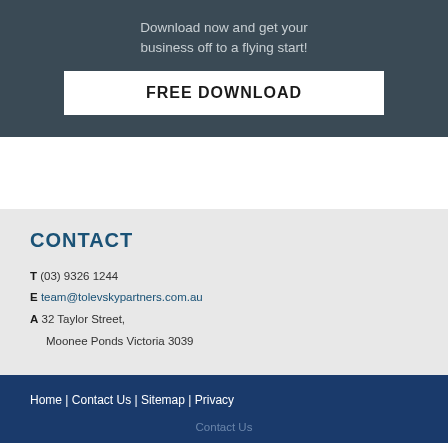Download now and get your business off to a flying start!
FREE DOWNLOAD
CONTACT
T (03) 9326 1244
E team@tolevskypartners.com.au
A 32 Taylor Street, Moonee Ponds Victoria 3039
Home | Contact Us | Sitemap | Privacy
Contact Us